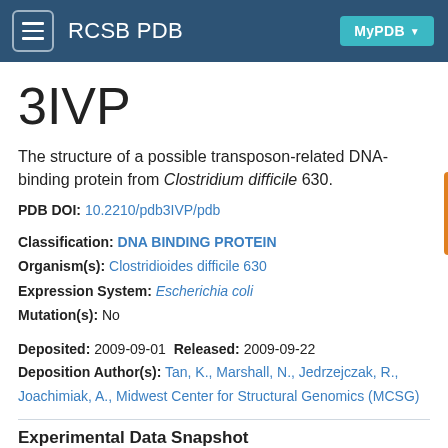RCSB PDB  MyPDB
3IVP
The structure of a possible transposon-related DNA-binding protein from Clostridium difficile 630.
PDB DOI: 10.2210/pdb3IVP/pdb
Classification: DNA BINDING PROTEIN
Organism(s): Clostridioides difficile 630
Expression System: Escherichia coli
Mutation(s): No
Deposited: 2009-09-01  Released: 2009-09-22
Deposition Author(s): Tan, K., Marshall, N., Jedrzejczak, R., Joachimiak, A., Midwest Center for Structural Genomics (MCSG)
Experimental Data Snapshot
Method: X-RAY DIFFRACTION
Resolution: 2.02 Å
R Value Free: 0.235